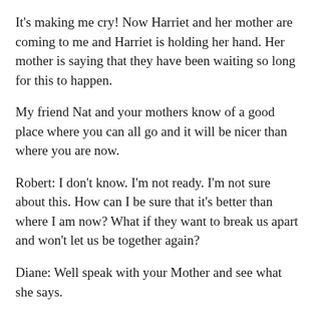It's making me cry! Now Harriet and her mother are coming to me and Harriet is holding her hand. Her mother is saying that they have been waiting so long for this to happen.
My friend Nat and your mothers know of a good place where you can all go and it will be nicer than where you are now.
Robert: I don't know. I'm not ready. I'm not sure about this. How can I be sure that it's better than where I am now? What if they want to break us apart and won't let us be together again?
Diane: Well speak with your Mother and see what she says.
Robert: My Mother said that if I go with her, I will be able to see Harriet, but I still don't know what to do.